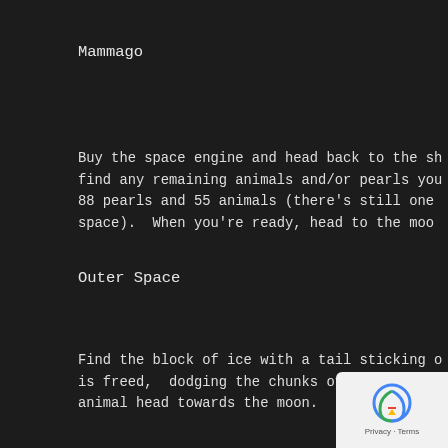Mammago
Buy the space engine and head back to the sh find any remaining animals and/or pearls you 88 pearls and 55 animals (there's still one space).  When you're ready, head to the moo
Outer Space
Find the block of ice with a tail sticking o is freed,  dodging the chunks of ice in the animal head towards the moon.
Moon
Fly towards the satellite looking obje to fly to. Once inside, Go through the the pressure pads with Jade and HH.  Once a